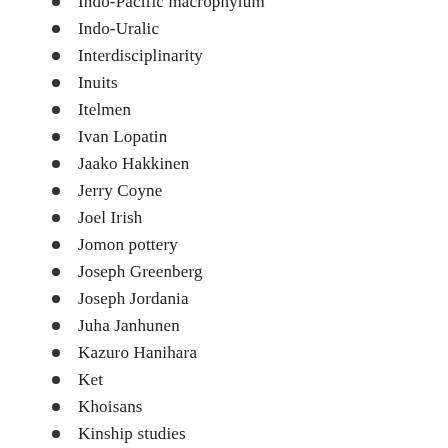Indo-Pacific macrophylum
Indo-Uralic
Interdisciplinarity
Inuits
Itelmen
Ivan Lopatin
Jaako Hakkinen
Jerry Coyne
Joel Irish
Jomon pottery
Joseph Greenberg
Joseph Jordania
Juha Janhunen
Kazuro Hanihara
Ket
Khoisans
Kinship studies